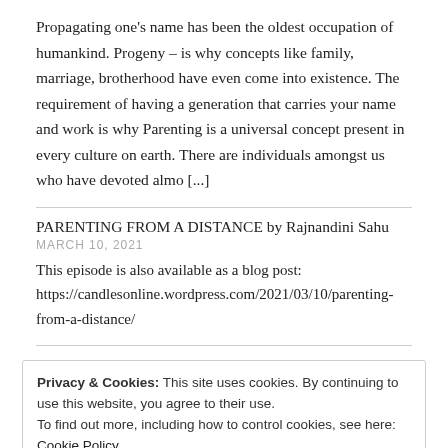Propagating one’s name has been the oldest occupation of humankind. Progeny – is why concepts like family, marriage, brotherhood have even come into existence. The requirement of having a generation that carries your name and work is why Parenting is a universal concept present in every culture on earth. There are individuals amongst us who have devoted almo [...]
PARENTING FROM A DISTANCE by Rajnandini Sahu
MARCH 10, 2021
This episode is also available as a blog post: https://candlesonline.wordpress.com/2021/03/10/parenting-from-a-distance/
Privacy & Cookies: This site uses cookies. By continuing to use this website, you agree to their use. To find out more, including how to control cookies, see here: Cookie Policy
BEING THE LIGHT by Savio Baes